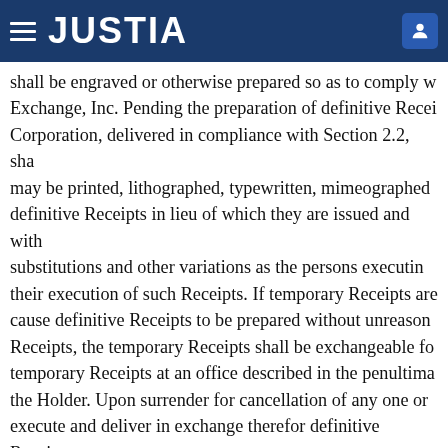JUSTIA
shall be engraved or otherwise prepared so as to comply w... Exchange, Inc. Pending the preparation of definitive Recei... Corporation, delivered in compliance with Section 2.2, sha... may be printed, lithographed, typewritten, mimeographed... definitive Receipts in lieu of which they are issued and with... substitutions and other variations as the persons executin... their execution of such Receipts. If temporary Receipts are... cause definitive Receipts to be prepared without unreason... Receipts, the temporary Receipts shall be exchangeable fo... temporary Receipts at an office described in the penultima... the Holder. Upon surrender for cancellation of any one or... execute and deliver in exchange therefor definitive Receipt... Shares as represented by the surrendered temporary Rec... the Corporation's expense and without any charge therefo... shall in all respects be entitled to the same benefits under
Receipts shall be executed by the Depositary by r